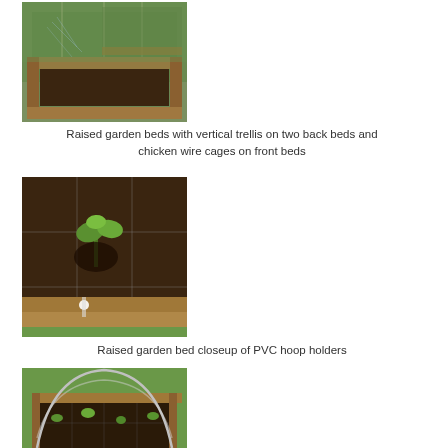[Figure (photo): Raised garden beds with vertical trellis on two back beds and chicken wire cages on front beds, viewed from above at an angle, showing wooden frame raised beds on grass with sprinklers running]
Raised garden beds with vertical trellis on two back beds and chicken wire cages on front beds
[Figure (photo): Closeup of a raised garden bed showing a seedling plant in dark soil, with a white PVC hoop holder visible at the edge of the wooden frame]
Raised garden bed closeup of PVC hoop holders
[Figure (photo): Raised garden bed with PVC hoop frame arching over the bed, showing young plants in a square foot gardening grid pattern, wooden frame on grass]